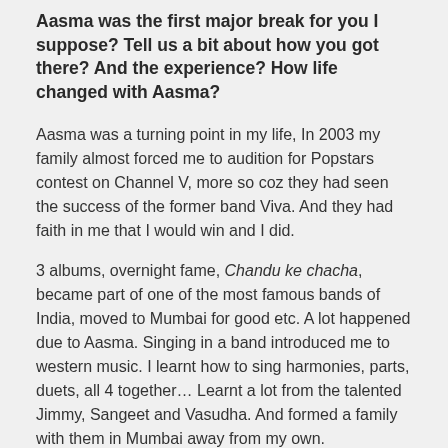Aasma was the first major break for you I suppose? Tell us a bit about how you got there? And the experience? How life changed with Aasma?
Aasma was a turning point in my life, In 2003 my family almost forced me to audition for Popstars contest on Channel V, more so coz they had seen the success of the former band Viva. And they had faith in me that I would win and I did.
3 albums, overnight fame, Chandu ke chacha, became part of one of the most famous bands of India, moved to Mumbai for good etc. A lot happened due to Aasma. Singing in a band introduced me to western music. I learnt how to sing harmonies, parts, duets, all 4 together… Learnt a lot from the talented Jimmy, Sangeet and Vasudha. And formed a family with them in Mumbai away from my own.